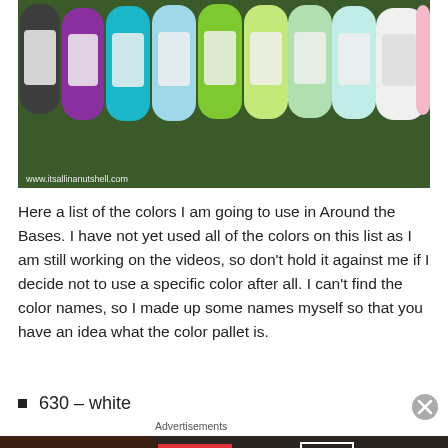[Figure (photo): Rows of colorful yarn skeins (purple, teal, light blue, green, yellow-green, light green, mint/teal, white/cream, light pink) arranged on grass. Watermark: www.itsallinanutshell.com]
Here a list of the colors I am going to use in Around the Bases. I have not yet used all of the colors on this list as I am still working on the videos, so don't hold it against me if I decide not to use a specific color after all. I can't find the color names, so I made up some names myself so that you have an idea what the color pallet is.
630 – white
Advertisements